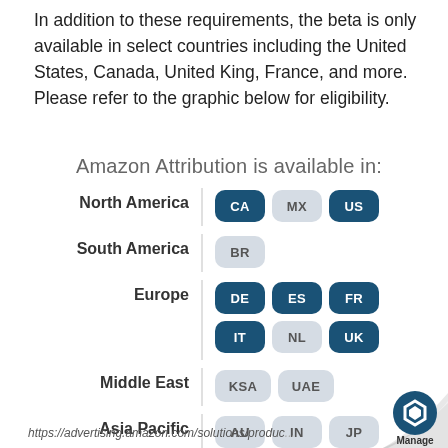In addition to these requirements, the beta is only available in select countries including the United States, Canada, United King, France, and more. Please refer to the graphic below for eligibility.
[Figure (infographic): Infographic titled 'Amazon Attribution is available in:' showing regions (North America, South America, Europe, Middle East, Asia Pacific) with country code badges. Dark blue badges: CA, US, DE, ES, FR, IT, UK. Light grey badges: MX, BR, NL, KSA, UAE, AU, IN, JP, SG.]
https://advertising.amazon.com/solutions/produc...